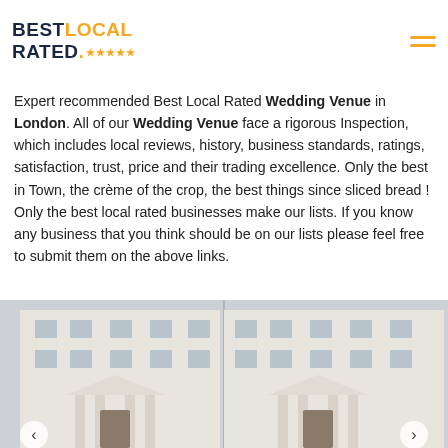Best Local Rated ★★★★★
Expert recommended Best Local Rated Wedding Venue in London. All of our Wedding Venue face a rigorous Inspection, which includes local reviews, history, business standards, ratings, satisfaction, trust, price and their trading excellence. Only the best in Town, the crème of the crop, the best things since sliced bread ! Only the best local rated businesses make our lists. If you know any business that you think should be on our lists please feel free to submit them on the above links.
[Figure (photo): Two classical white Georgian/neoclassical building facades side by side, showing multi-story white stone buildings with columns and symmetrical windows, a wedding venue in London.]